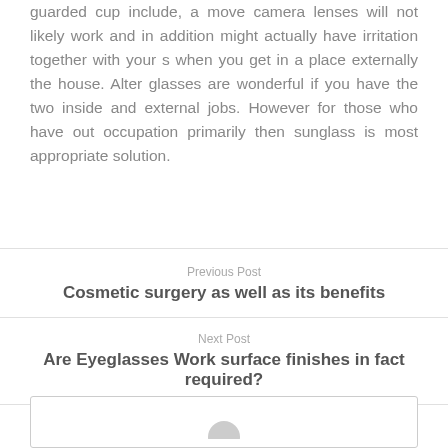guarded cup include, a move camera lenses will not likely work and in addition might actually have irritation together with your s when you get in a place externally the house. Alter glasses are wonderful if you have the two inside and external jobs. However for those who have out occupation primarily then sunglass is most appropriate solution.
Previous Post
Cosmetic surgery as well as its benefits
Next Post
Are Eyeglasses Work surface finishes in fact required?
[Figure (other): Comment box with avatar circle at bottom of page]